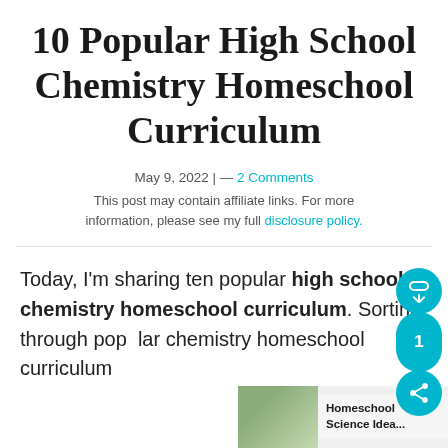10 Popular High School Chemistry Homeschool Curriculum
May 9, 2022 | — 2 Comments
This post may contain affiliate links. For more information, please see my full disclosure policy.
Today, I'm sharing ten popular high school chemistry homeschool curriculum. Sorting through popular chemistry homeschool curriculum